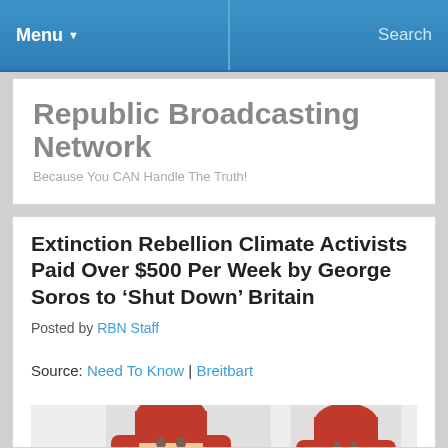Menu ▼   Search
Republic Broadcasting Network
Because You CAN Handle The Truth!
Extinction Rebellion Climate Activists Paid Over $500 Per Week by George Soros to ‘Shut Down’ Britain
Posted by RBN Staff
Source: Need To Know | Breitbart
[Figure (photo): Two people dressed in red costumes with red headdresses, photographed from the neck up against a white background. Associated with Extinction Rebellion climate activists.]